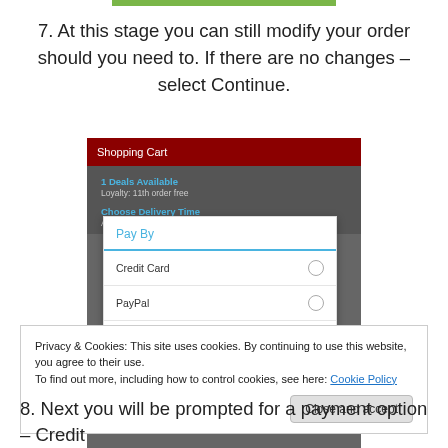[Figure (screenshot): Green navigation bar at top of page]
7. At this stage you can still modify your order should you need to. If there are no changes – select Continue.
[Figure (screenshot): Mobile app screenshot showing Shopping Cart screen with 1 Deals Available, Loyalty: 11th order free, Choose Delivery Time: ASAP/please, and a Pay By modal dialog with options Credit Card, PayPal, and Cash with radio buttons]
Privacy & Cookies: This site uses cookies. By continuing to use this website, you agree to their use.
To find out more, including how to control cookies, see here: Cookie Policy
Close and accept
8. Next you will be prompted for a payment option – Credit